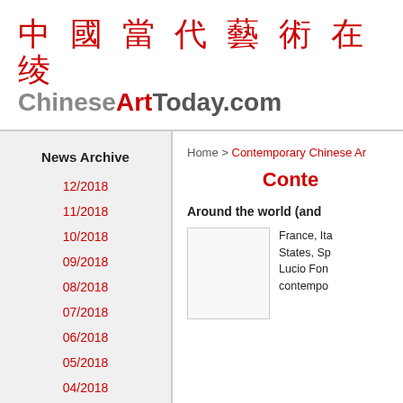中國當代藝術在绫 ChineseArtToday.com
Home > Contemporary Chinese Ar
Conte
News Archive
12/2018
11/2018
10/2018
09/2018
08/2018
07/2018
06/2018
05/2018
04/2018
03/2018
Around the world (and
[Figure (photo): A rectangular image placeholder]
France, Ita States, Sp Lucio Fon contempo